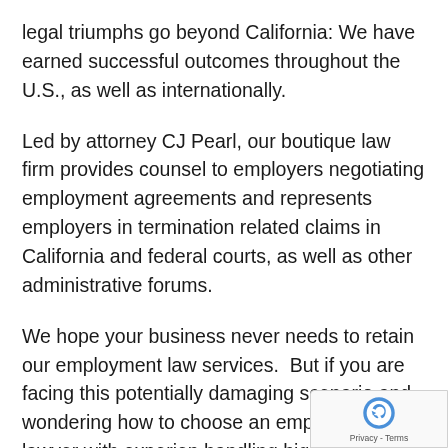legal triumphs go beyond California: We have earned successful outcomes throughout the U.S., as well as internationally.
Led by attorney CJ Pearl, our boutique law firm provides counsel to employers negotiating employment agreements and represents employers in termination related claims in California and federal courts, as well as other administrative forums.
We hope your business never needs to retain our employment law services.  But if you are facing this potentially damaging scenario and wondering how to choose an employment lawyer with experience handling high-exposure class and collection acti